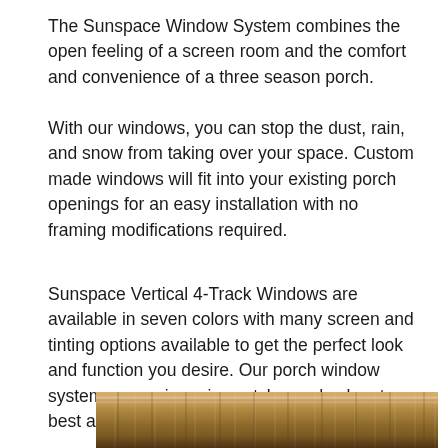The Sunspace Window System combines the open feeling of a screen room and the comfort and convenience of a three season porch.
With our windows, you can stop the dust, rain, and snow from taking over your space. Custom made windows will fit into your existing porch openings for an easy installation with no framing modifications required.
Sunspace Vertical 4-Track Windows are available in seven colors with many screen and tinting options available to get the perfect look and function you desire. Our porch window systems come in various styles and colors to best accentuate the design of your home.
[Figure (photo): Partial view of a wooden porch window frame, showing warm brown wood tones at the bottom of the page]